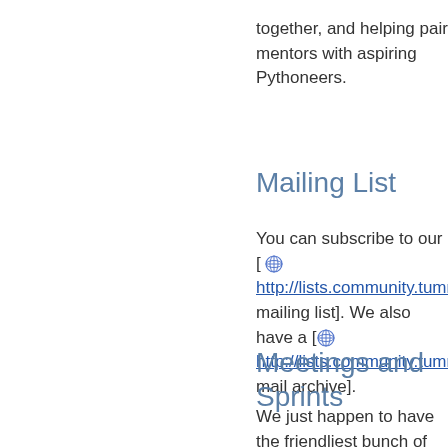together, and helping pair mentors with aspiring Pythoneers.
Mailing List
You can subscribe to our [ http://lists.community.tummy.com mailing list]. We also have a [ http://lists.community.tummy.com mail archive].
Meetings and Sprints
We just happen to have the friendliest bunch of Python people coming to our meetings. So why not come